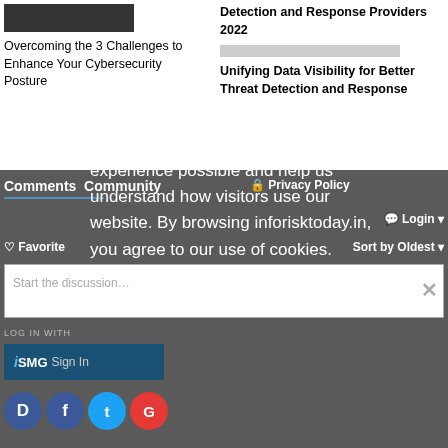Overcoming the 3 Challenges to Enhance Your Cybersecurity Posture
Detection and Response Providers 2022
Unifying Data Visibility for Better Threat Detection and Response
Comments Community
🔒 Privacy Policy
💬 Login ▾
♡ Favorite
Sort by Oldest ▾
Start the discussion...
LOG IN WITH
iSMG Sign In
Our website uses cookies. Cookies enable us to provide the best experience possible and help us understand how visitors use our website. By browsing inforisktoday.in, you agree to our use of cookies.